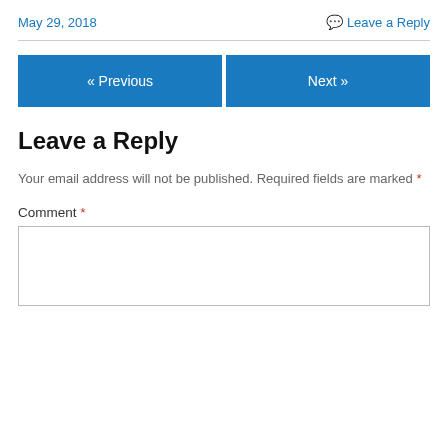May 29, 2018    Leave a Reply
[Figure (other): Navigation buttons: « Previous and Next »]
Leave a Reply
Your email address will not be published. Required fields are marked *
Comment *